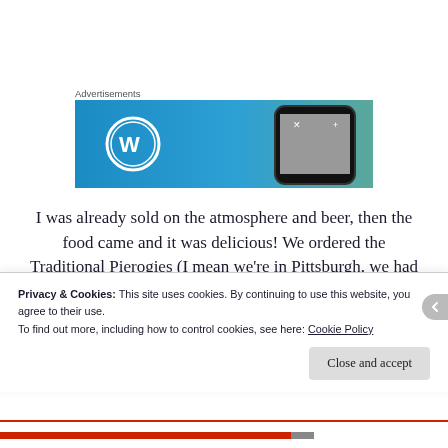Advertisements
[Figure (screenshot): WordPress advertisement banner showing the WordPress logo (circled W) on a blue-to-green gradient background with a smartphone on the right side]
I was already sold on the atmosphere and beer, then the food came and it was delicious! We ordered the Traditional Pierogies (I mean we're in Pittsburgh, we had to) and Pretzels to start. The potato and
Privacy & Cookies: This site uses cookies. By continuing to use this website, you agree to their use.
To find out more, including how to control cookies, see here: Cookie Policy
Close and accept